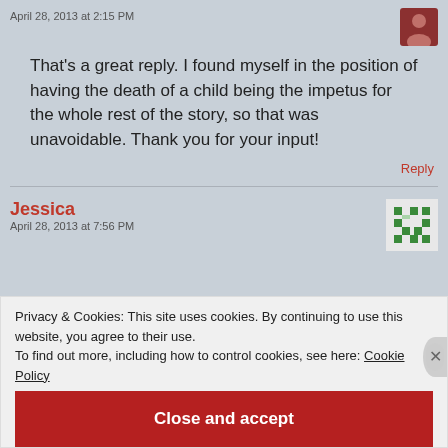April 28, 2013 at 2:15 PM
That's a great reply. I found myself in the position of having the death of a child being the impetus for the whole rest of the story, so that was unavoidable. Thank you for your input!
Reply
Jessica
April 28, 2013 at 7:56 PM
Privacy & Cookies: This site uses cookies. By continuing to use this website, you agree to their use.
To find out more, including how to control cookies, see here: Cookie Policy
Close and accept